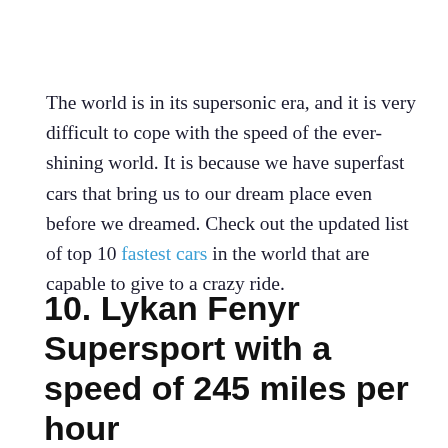The world is in its supersonic era, and it is very difficult to cope with the speed of the ever-shining world. It is because we have superfast cars that bring us to our dream place even before we dreamed. Check out the updated list of top 10 fastest cars in the world that are capable to give to a crazy ride.
10. Lykan Fenyr Supersport with a speed of 245 miles per hour